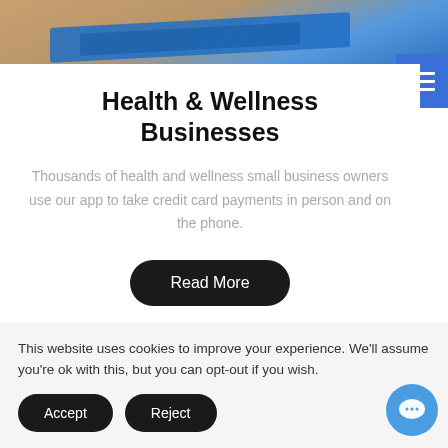[Figure (photo): Yoga or fitness related photo showing person on blue yoga mat on brick/tile surface, partially visible at top of page]
Health & Wellness Businesses
Thousands of health and wellness small business owners use our app to take credit card payments in person and on the phone.
Read More
This website uses cookies to improve your experience. We'll assume you're ok with this, but you can opt-out if you wish.
Accept
Reject